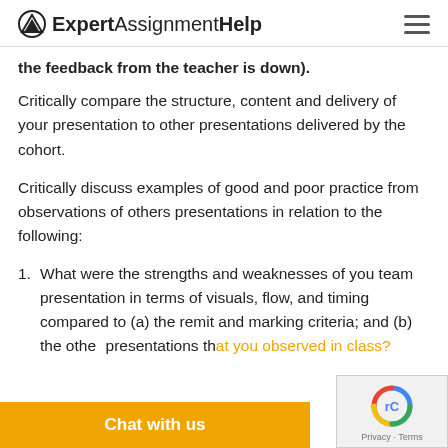ExpertAssignmentHelp
the feedback from the teacher is down).
Critically compare the structure, content and delivery of your presentation to other presentations delivered by the cohort.
Critically discuss examples of good and poor practice from observations of others presentations in relation to the following:
What were the strengths and weaknesses of you team presentation in terms of visuals, flow, and timing compared to (a) the remit and marking criteria; and (b) the other presentations that you observed in class?